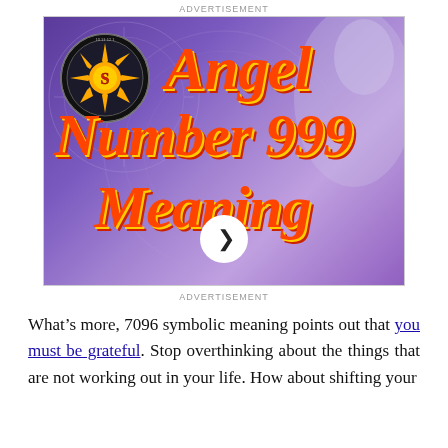ADVERTISEMENT
[Figure (illustration): Advertisement banner for 'Angel Number 999 Meaning' with purple background, decorative sun badge logo, large red/gold italic text reading 'Angel Number 999 Meaning', a silhouette of a woman on the right, and a play/next button at the bottom center.]
ADVERTISEMENT
What’s more, 7096 symbolic meaning points out that you must be grateful. Stop overthinking about the things that are not working out in your life. How about shifting your